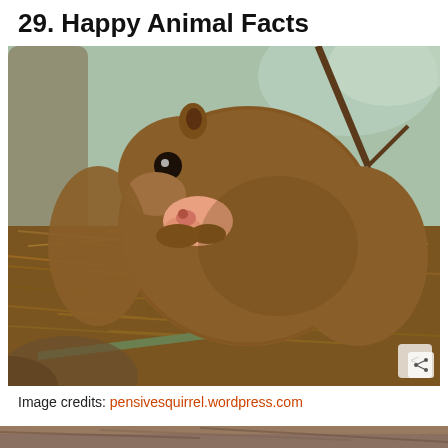29. Happy Animal Facts
[Figure (photo): A squirrel in a nest made of grass and twigs, holding a tiny hairless baby squirrel in its mouth. The squirrel has brown fur and a large dark eye. Background shows tree branches and blurred foliage.]
Image credits: pensivesquirrel.wordpress.com